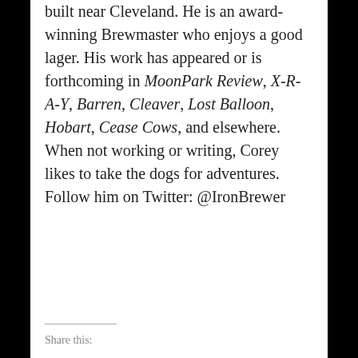Corey Miller lives with his wife in a tiny house they built near Cleveland. He is an award-winning Brewmaster who enjoys a good lager. His work has appeared or is forthcoming in MoonPark Review, X-R-A-Y, Barren, Cleaver, Lost Balloon, Hobart, Cease Cows, and elsewhere. When not working or writing, Corey likes to take the dogs for adventures. Follow him on Twitter: @IronBrewer
Share this: